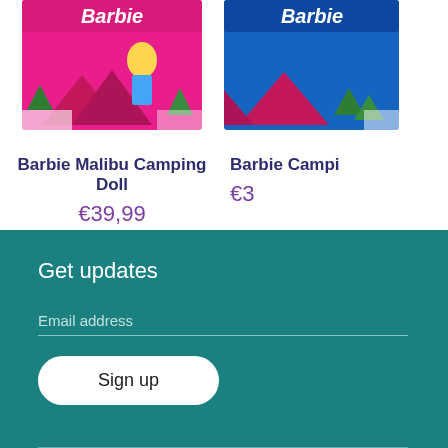[Figure (photo): Barbie Malibu Camping Doll product box image, partially visible at top of page]
Barbie Malibu Camping Doll
€39,99
[Figure (photo): Barbie Camping product box image, partially visible at top right of page, cropped]
Barbie Campi…
€3…
Get updates
Email address
Sign up